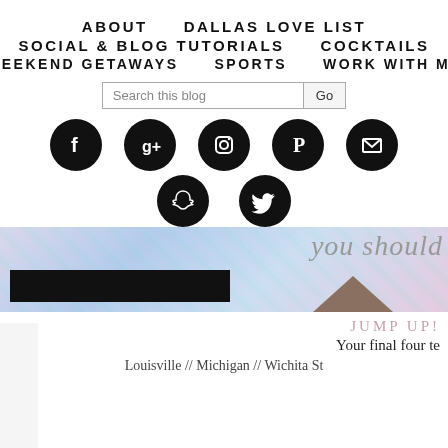ABOUT | DALLAS LOVE LIST | SOCIAL & BLOG TUTORIALS | COCKTAILS | WEEKEND GETAWAYS | SPORTS | WORK WITH ME
Search this blog | Go
[Figure (infographic): Row of social media icons: Facebook, Google+, Instagram, Pinterest, Email, Snapchat, Twitter — black circles with white icons]
[Figure (photo): Blog header image strip with floral/colorful background, black bar overlay, cursive script text 'you should' partially visible, and dark triangle shape]
JUMP UP!
Your final four te
Louisville // Michigan // Wichita St